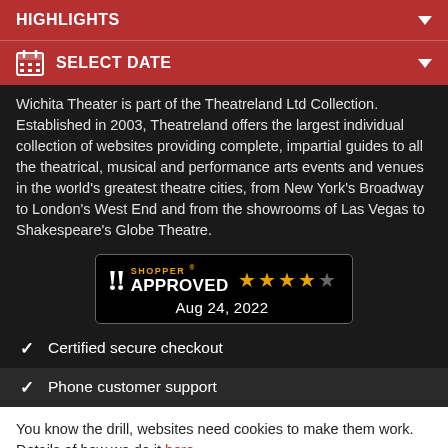HIGHLIGHTS
SELECT DATE
Wichita Theater is part of the Theatreland Ltd Collection. Established in 2003, Theatreland offers the largest individual collection of websites providing complete, impartial guides to all the theatrical, musical and performance arts events and venues in the world's greatest theatre cities, from New York's Broadway to London's West End and from the showrooms of Las Vegas to Shakespeare's Globe Theatre.
[Figure (logo): Shopper Approved badge with 4-star rating and date Aug 24, 2022]
Certified secure checkout
Phone customer support
You know the drill, websites need cookies to make them work. Details of how we do it here.
Got it!